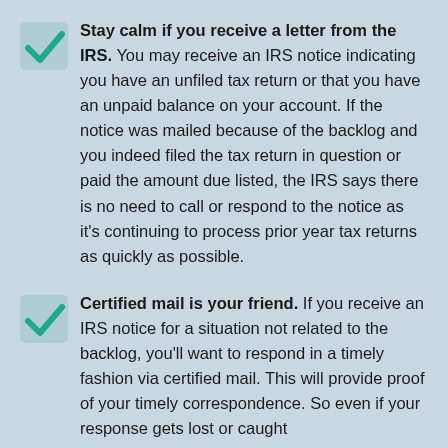Stay calm if you receive a letter from the IRS. You may receive an IRS notice indicating you have an unfiled tax return or that you have an unpaid balance on your account. If the notice was mailed because of the backlog and you indeed filed the tax return in question or paid the amount due listed, the IRS says there is no need to call or respond to the notice as it's continuing to process prior year tax returns as quickly as possible.
Certified mail is your friend. If you receive an IRS notice for a situation not related to the backlog, you'll want to respond in a timely fashion via certified mail. This will provide proof of your timely correspondence. So even if your response gets lost or caught